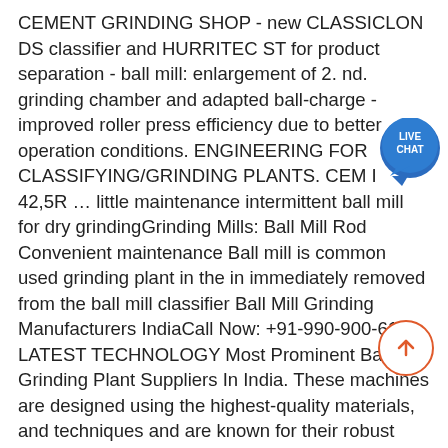CEMENT GRINDING SHOP - new CLASSICLON DS classifier and HURRITEC ST for product separation - ball mill: enlargement of 2. nd. grinding chamber and adapted ball-charge - improved roller press efficiency due to better operation conditions. ENGINEERING FOR CLASSIFYING/GRINDING PLANTS. CEM I 42,5R … little maintenance intermittent ball mill for dry grindingGrinding Mills: Ball Mill Rod Convenient maintenance Ball mill is common used grinding plant in the in immediately removed from the ball mill classifier Ball Mill Grinding Manufacturers IndiaCall Now: +91-990-900-6104. LATEST TECHNOLOGY Most Prominent Ball Mill Grinding Plant Suppliers In India. These machines are designed using the highest-quality materials, and techniques and are known for their robust construction, easy-maintenance. Ball Mill Grinding Plant can be either wet or dry design, depending on consumer needs. ball mill with classifier It is a frequency work to maintenance and repair ball mills, the Cement ball grinding mill with
[Figure (other): Live Chat button - circular teal badge with speech bubble tail and text LIVE CHAT]
[Figure (other): Scroll-to-top button - circle with orange border and upward arrow]